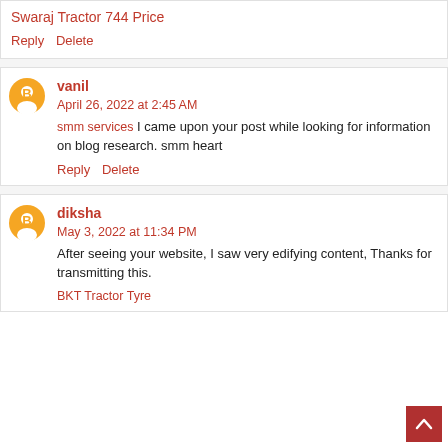Swaraj Tractor 744 Price
Reply  Delete
vanil
April 26, 2022 at 2:45 AM
smm services I came upon your post while looking for information on blog research. smm heart
Reply  Delete
diksha
May 3, 2022 at 11:34 PM
After seeing your website, I saw very edifying content, Thanks for transmitting this.
BKT Tractor Tyre